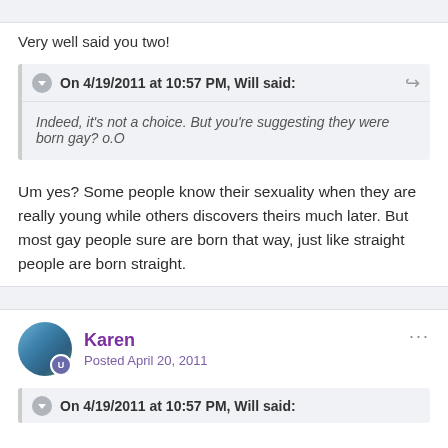Very well said you two!
On 4/19/2011 at 10:57 PM, Will said:
Indeed, it’s not a choice. But you’re suggesting they were born gay? o.O
Um yes? Some people know their sexuality when they are really young while others discovers theirs much later. But most gay people sure are born that way, just like straight people are born straight.
Karen
Posted April 20, 2011
On 4/19/2011 at 10:57 PM, Will said: